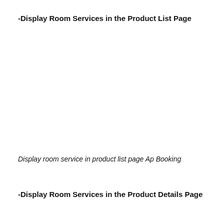-Display Room Services in the Product List Page
Display room service in product list page Ap Booking
-Display Room Services in the Product Details Page